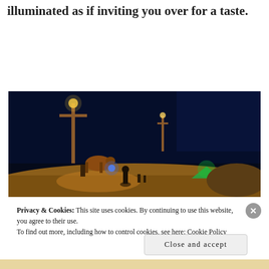illuminated as if inviting you over for a taste.
[Figure (screenshot): Dark night-time video game scene with characters near a wooden cross/totem pole lamp post, orange sandy ground, blue glowing elements, a green glowing tent in the background, and a dark sky. Appears to be an RPG or adventure game screenshot.]
Privacy & Cookies: This site uses cookies. By continuing to use this website, you agree to their use. To find out more, including how to control cookies, see here: Cookie Policy
Close and accept